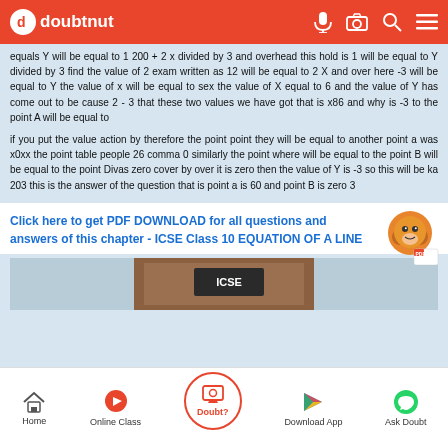doubtnut
equals Y will be equal to 1 200 + 2 x divided by 3 and overhead this hold is 1 will be equal to Y divided by 3 find the value of 2 exam written as 12 will be equal to 2 X and over here -3 will be equal to Y the value of x will be equal to sex the value of X equal to 6 and the value of Y has come out to be cause 2 - 3 that these two values we have got that is x86 and why is -3 to the point A will be equal to
if you put the value action by therefore the point point they will be equal to another point a was x0xx the point table people 26 comma 0 similarly the point where will be equal to the point B will be equal to the point Divas zero cover by over it is zero then the value of Y is -3 so this will be ka 203 this is the answer of the question that is point a is 60 and point B is zero 3
Click here to get PDF DOWNLOAD for all questions and answers of this chapter - ICSE Class 10 EQUATION OF A LINE
[Figure (screenshot): ICSE book preview thumbnail]
Home  Online Class  Doubt?  Download App  Ask Doubt